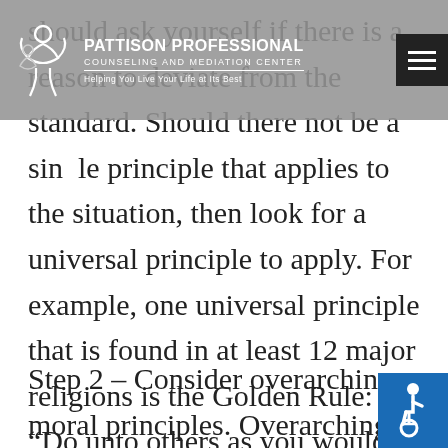PATTISON PROFESSIONAL COUNSELING AND MEDIATION CENTER — Helping You Live Your Life at Its Best
should ask yourself if there is a reason to deviate from the standard. Should there not be a single principle that applies to the situation, then look for a universal principle to apply. For example, one universal principle that is found in at least 12 major religions is the Golden Rule: “Do unto others as you would have them do unto you.” To apply a universal principle when making a decision, ask yourself if you would recommend the same course of action to every other person similar to you and your set of circumstances.
Step 2 – Consider overarching moral principles. Overarching moral principles are the foundation, the underlying principles, upon which all other